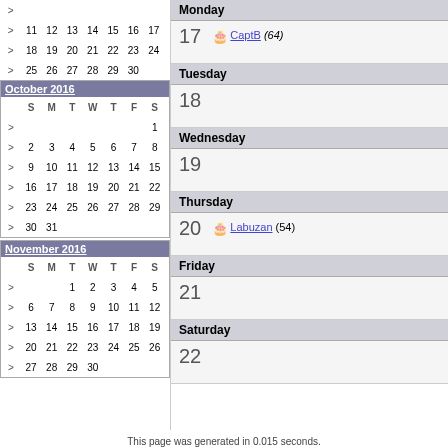|  | S | M | T | W | T | F | S |
| --- | --- | --- | --- | --- | --- | --- | --- |
| > |  |  |  |  |  |  |  |
| > | 11 | 12 | 13 | 14 | 15 | 16 | 17 |
| > | 18 | 19 | 20 | 21 | 22 | 23 | 24 |
| > | 25 | 26 | 27 | 28 | 29 | 30 |  |
October 2016
|  | S | M | T | W | T | F | S |
| --- | --- | --- | --- | --- | --- | --- | --- |
| > |  |  |  |  |  |  | 1 |
| > | 2 | 3 | 4 | 5 | 6 | 7 | 8 |
| > | 9 | 10 | 11 | 12 | 13 | 14 | 15 |
| > | 16 | 17 | 18 | 19 | 20 | 21 | 22 |
| > | 23 | 24 | 25 | 26 | 27 | 28 | 29 |
| > | 30 | 31 |  |  |  |  |  |
November 2016
|  | S | M | T | W | T | F | S |
| --- | --- | --- | --- | --- | --- | --- | --- |
| > |  |  | 1 | 2 | 3 | 4 | 5 |
| > | 6 | 7 | 8 | 9 | 10 | 11 | 12 |
| > | 13 | 14 | 15 | 16 | 17 | 18 | 19 |
| > | 20 | 21 | 22 | 23 | 24 | 25 | 26 |
| > | 27 | 28 | 29 | 30 |  |  |  |
Monday
17  🎂 CaptB (64)
Tuesday
18
Wednesday
19
Thursday
20  🎂 Labuzan (54)
Friday
21
Saturday
22
This page was generated in 0.015 seconds.